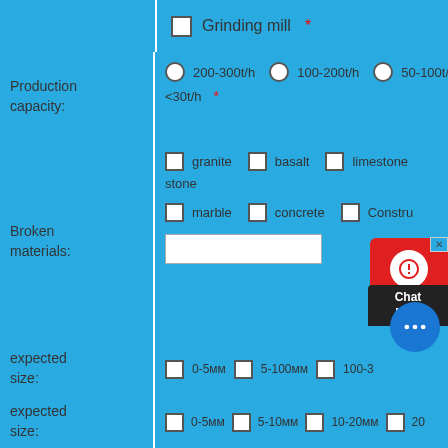| Grinding mill  * |
| Production capacity: | 200-300t/h  100-200t/h  50-100t/h  <30t/h  * |
| Broken materials: | granite  basalt  limestone  stone
marble  concrete  Construction waste  [text input] |
| expected size: | 0-5мм  5-100мм  100-3... |
| expected size: | 0-5мм  5-10мм  10-20мм  20... |
| Additional | ... |